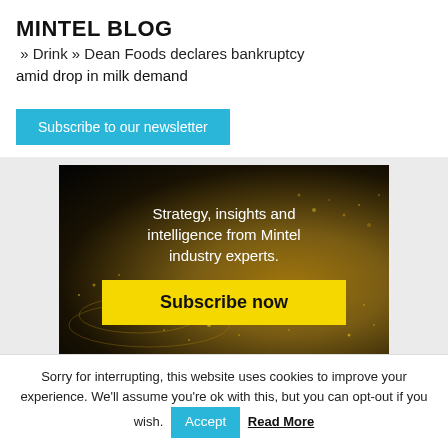MINTEL BLOG » Drink » Dean Foods declares bankruptcy amid drop in milk demand
Subscribe to our newsletter
[Figure (illustration): Dark background banner ad with golden dot-wave design. Text reads 'Strategy, insights and intelligence from Mintel industry experts.' with a yellow 'Subscribe now' button.]
Sorry for interrupting, this website uses cookies to improve your experience. We'll assume you're ok with this, but you can opt-out if you wish. Accept Read More